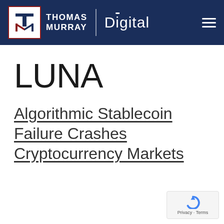Thomas Murray Digital
LUNA
Algorithmic Stablecoin Failure Crashes Cryptocurrency Markets
[Figure (logo): reCAPTCHA badge with Privacy and Terms links]